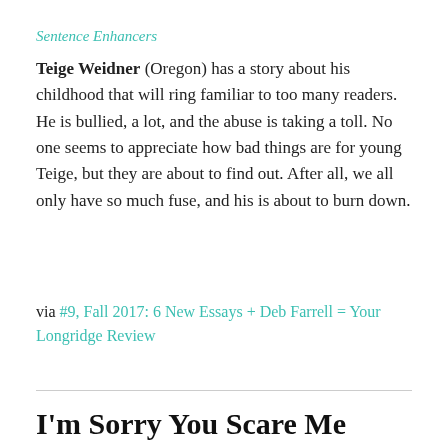Sentence Enhancers
Teige Weidner (Oregon) has a story about his childhood that will ring familiar to too many readers. He is bullied, a lot, and the abuse is taking a toll. No one seems to appreciate how bad things are for young Teige, but they are about to find out. After all, we all only have so much fuse, and his is about to burn down.
via #9, Fall 2017: 6 New Essays + Deb Farrell = Your Longridge Review
I'm Sorry You Scare Me